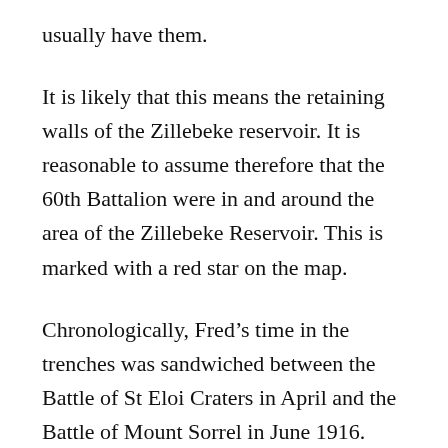usually have them.
It is likely that this means the retaining walls of the Zillebeke reservoir. It is reasonable to assume therefore that the 60th Battalion were in and around the area of the Zillebeke Reservoir. This is marked with a red star on the map.
Chronologically, Fred’s time in the trenches was sandwiched between the Battle of St Eloi Craters in April and the Battle of Mount Sorrel in June 1916.
On Good Friday, 21st April 1916, members of “C” Company 60th Battalion were at work